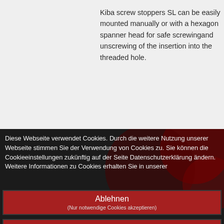Kiba screw stoppers SL can be easily mounted manually or with a hexagon spanner head for safe screwingand unscrewing of the insertion into the threaded hole.
Diese Webseite verwendet Cookies. Durch die weitere Nutzung unserer Webseite stimmen Sie der Verwendung von Cookies zu. Sie können die Cookieeinstellungen zukünftig auf der Seite Datenschutzerklärung ändern. Weitere Informationen zu Cookies erhalten Sie in unserer
Ablehnen
(Nur notwendige Cookies akzeptieren)
Alle erlauben
| Article | Thread |
| --- | --- |
| Einstellungen anpassen |  |